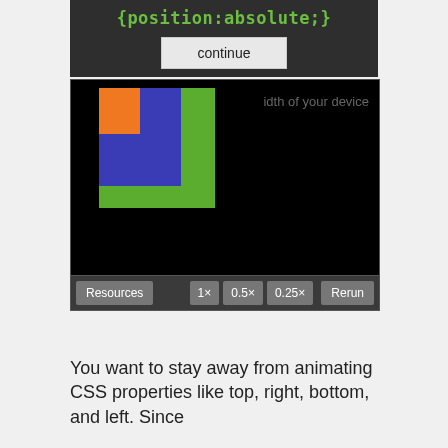{position:absolute;}
[Figure (screenshot): Interactive CSS animation demo showing colored blocks (orange, blue, green) with a black background and toolbar with Resources, 1x, 0.5x, 0.25x, and Rerun buttons. A 'continue' button is shown above the demo.]
You want to stay away from animating CSS properties like top, right, bottom, and left. Since